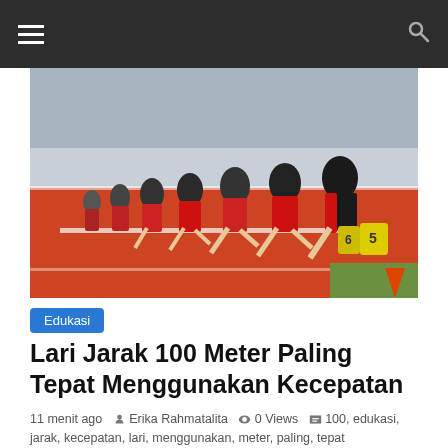[Figure (photo): Multiple sprinters in red and white uniforms bursting from starting blocks on a red athletics track, leaning forward at the start of a 100-meter race. Yellow lane markers visible on right side.]
Edukasi
Lari Jarak 100 Meter Paling Tepat Menggunakan Kecepatan
11 menit ago  Erika Rahmatalita  0 Views  100, edukasi, jarak, kecepatan, lari, menggunakan, meter, paling, tepat